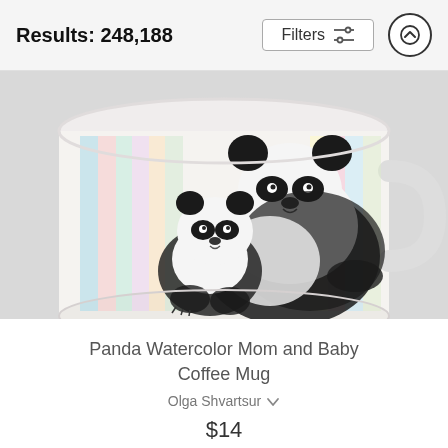Results: 248,188
Filters
[Figure (photo): A white ceramic coffee mug featuring a watercolor painting of a mother panda and baby panda sitting against a colorful pastel wood-plank background. The pandas are depicted in black and white with detailed fur texture.]
Panda Watercolor Mom and Baby Coffee Mug
Olga Shvartsur
$14